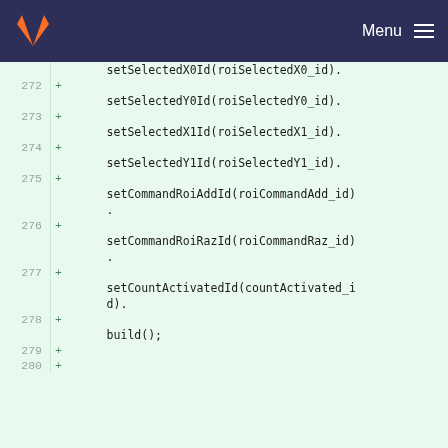GitLab logo | Menu
[Figure (screenshot): Code diff view showing lines 272-280 with added lines (marked with +) containing method chaining: setSelectedX0Id, setSelectedY0Id, setSelectedX1Id, setSelectedY1Id, setCommandRoiAddId, setCommandRoiRazId, setCountActivatedId, build()]